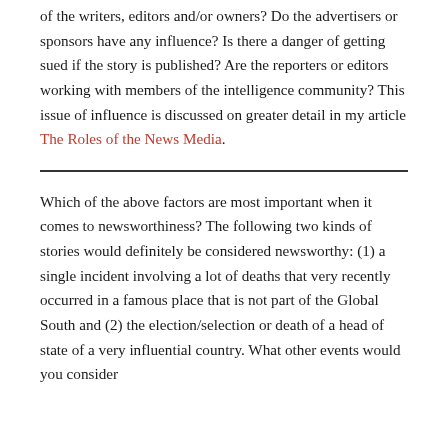of the writers, editors and/or owners? Do the advertisers or sponsors have any influence? Is there a danger of getting sued if the story is published? Are the reporters or editors working with members of the intelligence community? This issue of influence is discussed on greater detail in my article The Roles of the News Media.
Which of the above factors are most important when it comes to newsworthiness? The following two kinds of stories would definitely be considered newsworthy: (1) a single incident involving a lot of deaths that very recently occurred in a famous place that is not part of the Global South and (2) the election/selection or death of a head of state of a very influential country. What other events would you consider